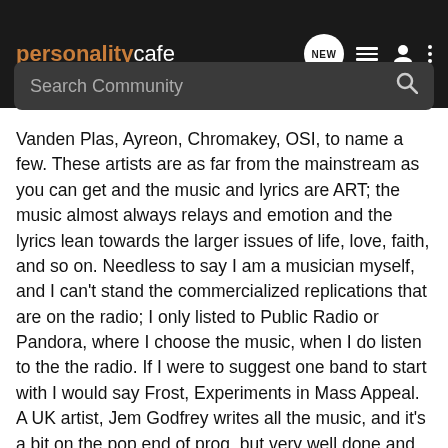personalitycafe — Search Community
Vanden Plas, Ayreon, Chromakey, OSI, to name a few. These artists are as far from the mainstream as you can get and the music and lyrics are ART; the music almost always relays and emotion and the lyrics lean towards the larger issues of life, love, faith, and so on. Needless to say I am a musician myself, and I can't stand the commercialized replications that are on the radio; I only listed to Public Radio or Pandora, where I choose the music, when I do listen to the the radio. If I were to suggest one band to start with I would say Frost, Experiments in Mass Appeal. A UK artist, Jem Godfrey writes all the music, and it's a bit on the pop end of prog, but very well done and great lyrics. "I don't care if you don't mind. Modern life's the mocking kind. But tell me how I came to be, married to my enemy." "Of all the things you want to be; the earth beneath the industry.An ideal and an innocence. The moral ends the